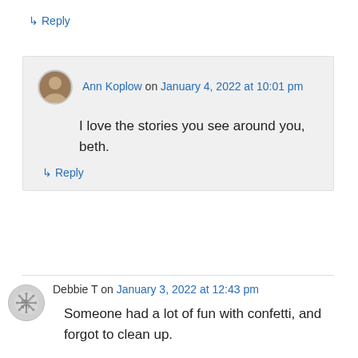↳ Reply
Ann Koplow on January 4, 2022 at 10:01 pm
I love the stories you see around you, beth.
↳ Reply
Debbie T on January 3, 2022 at 12:43 pm
Someone had a lot of fun with confetti, and forgot to clean up.
↳ Reply